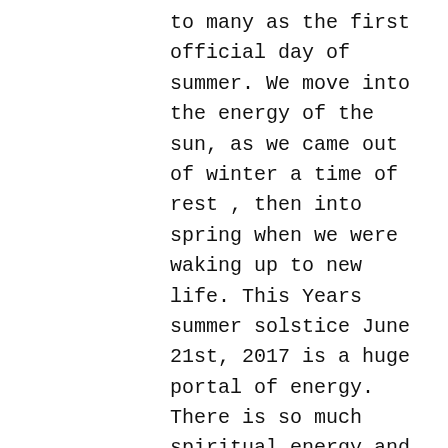to many as the first official day of summer. We move into the energy of the sun, as we came out of winter a time of rest , then into spring when we were waking up to new life. This Years summer solstice June 21st, 2017 is a huge portal of energy. There is so much spiritual energy and downloads coming in, especially for light workers and twin flames. Its also important for humanity as a collective as a mass awakening is happening. We are being activated by the divine to really awaken to the truth of the world we perceive in this reality. We are now in New Earth and many have jumped or shifted timelines at an accelerated pace. The sun is pulsating with major energy and today is a perfect time to soak up the sun rays, be in nature, meditate and rest. I have been having sleepless